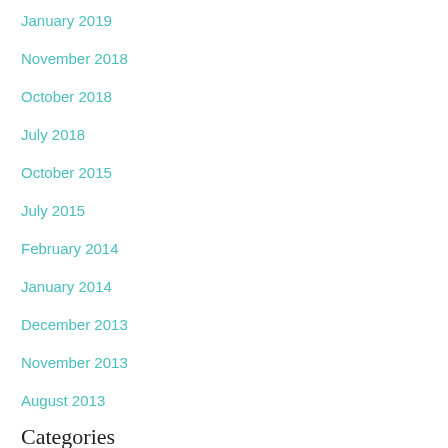January 2019
November 2018
October 2018
July 2018
October 2015
July 2015
February 2014
January 2014
December 2013
November 2013
August 2013
Categories